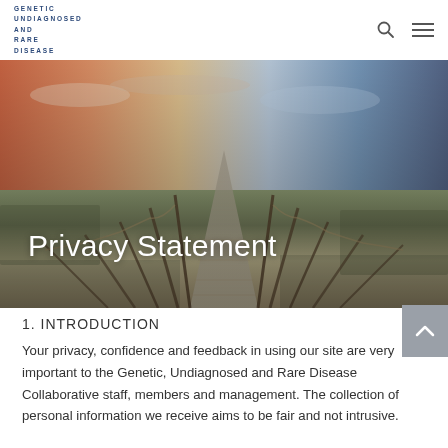GENETIC UNDIAGNOSED AND RARE DISEASE
[Figure (photo): Boardwalk path through marshland at sunset with wooden posts and rope railings stretching into the distance, dramatic sky with orange and blue hues]
Privacy Statement
1. INTRODUCTION
Your privacy, confidence and feedback in using our site are very important to the Genetic, Undiagnosed and Rare Disease Collaborative staff, members and management. The collection of personal information we receive aims to be fair and not intrusive.